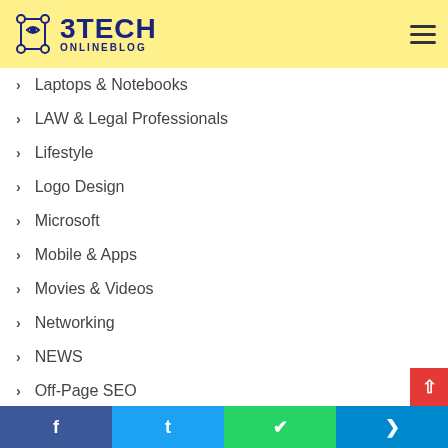3TECH ONLINEBLOG
Laptops & Notebooks
LAW & Legal Professionals
Lifestyle
Logo Design
Microsoft
Mobile & Apps
Movies & Videos
Networking
NEWS
Off-Page SEO
On-Page SEO
Facebook | Twitter | WhatsApp | Telegram